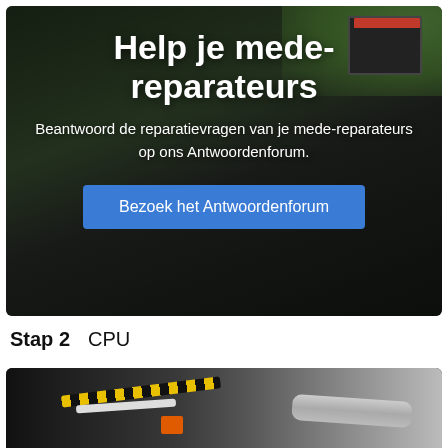[Figure (photo): A person repairing electronics, seen from above, with tools and hardware components visible. Dark background with green grass visible. Banner overlay with white text and a blue button.]
Help je mede-reparateurs
Beantwoord de reparatievragen van je mede-reparateurs op ons Antwoordenforum.
Bezoek het Antwoordenforum
Stap 2    CPU
[Figure (photo): Interior of a computer or electronic device showing cables (yellow, black, white) and a gray ribbon/strap being handled by a hand.]